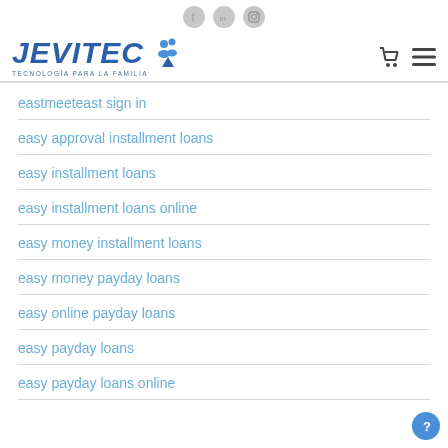JEVITEC — TECNOLOGÍA PARA LA FAMILIA
eastmeeteast sign in
easy approval installment loans
easy installment loans
easy installment loans online
easy money installment loans
easy money payday loans
easy online payday loans
easy payday loans
easy payday loans online